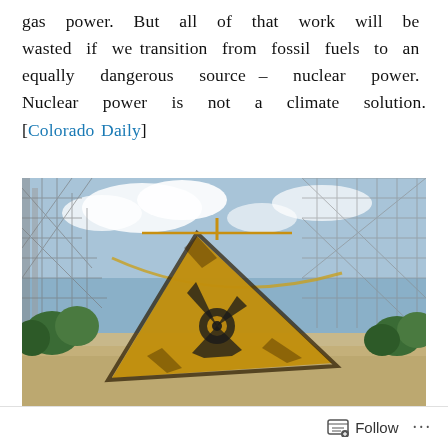gas power. But all of that work will be wasted if we transition from fossil fuels to an equally dangerous source – nuclear power. Nuclear power is not a climate solution. [Colorado Daily]
[Figure (photo): A rusted yellow radioactive warning sign (triangular shape with radiation symbol) hanging in foreground, with a large abandoned radar/antenna structure (Duga radar) and trees in the background at Chernobyl.]
Warning sign at Chernobyl (Ilia Nedilko, Unsplash)
Follow ...